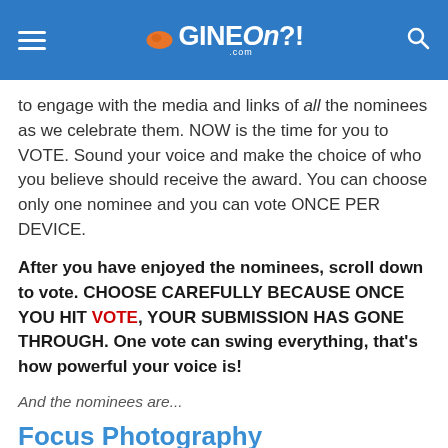GINEOn?! .com
to engage with the media and links of all the nominees as we celebrate them. NOW is the time for you to VOTE. Sound your voice and make the choice of who you believe should receive the award. You can choose only one nominee and you can vote ONCE PER DEVICE.
After you have enjoyed the nominees, scroll down to vote. CHOOSE CAREFULLY BECAUSE ONCE YOU HIT VOTE, YOUR SUBMISSION HAS GONE THROUGH. One vote can swing everything, that's how powerful your voice is!
And the nominees are...
Focus Photography